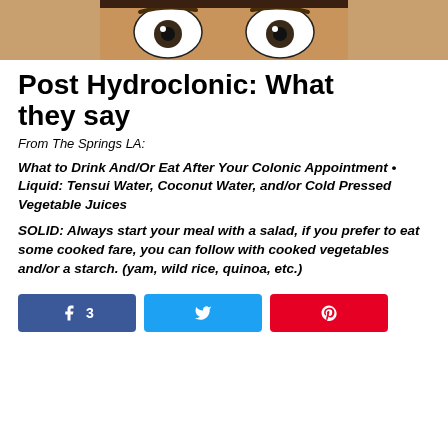[Figure (photo): Close-up photo of a person's eyes and forehead, looking wide-eyed at the camera]
Post Hydroclonic: What they say
From The Springs LA:
What to Drink And/Or Eat After Your Colonic Appointment • Liquid: Tensui Water, Coconut Water, and/or Cold Pressed Vegetable Juices
SOLID: Always start your meal with a salad, if you prefer to eat some cooked fare, you can follow with cooked vegetables and/or a starch. (yam, wild rice, quinoa, etc.)